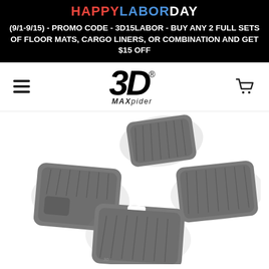HAPPY LABOR DAY
(9/1-9/15) - PROMO CODE - 3D15LABOR - BUY ANY 2 FULL SETS OF FLOOR MATS, CARGO LINERS, OR COMBINATION AND GET $15 OFF
[Figure (logo): 3D MAXpider logo with hamburger menu icon and shopping cart icon in navigation bar]
[Figure (photo): Set of four gray 3D MAXpider floor mats arranged in a spread pattern showing front and rear car floor mats]